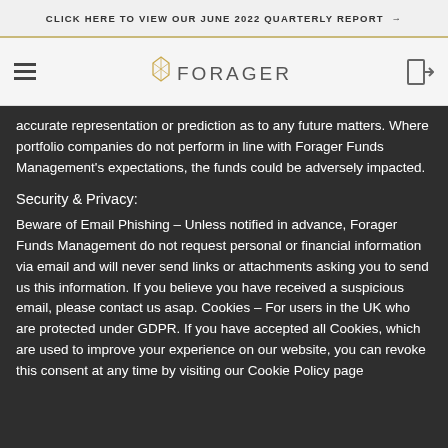CLICK HERE TO VIEW OUR JUNE 2022 QUARTERLY REPORT →
[Figure (logo): Forager Funds Management logo — hamburger menu icon on left, Forager geometric jewel logo with wordmark center, login/exit icon on right]
accurate representation or prediction as to any future matters. Where portfolio companies do not perform in line with Forager Funds Management's expectations, the funds could be adversely impacted.
Security & Privacy:
Beware of Email Phishing – Unless notified in advance, Forager Funds Management do not request personal or financial information via email and will never send links or attachments asking you to send us this information. If you believe you have received a suspicious email, please contact us asap. Cookies – For users in the UK who are protected under GDPR. If you have accepted all Cookies, which are used to improve your experience on our website, you can revoke this consent at any time by visiting our Cookie Policy page